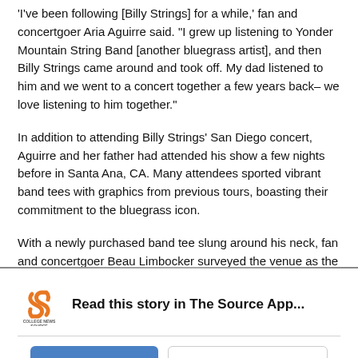'I've been following [Billy Strings] for a while,' fan and concertgoer Aria Aguirre said. "I grew up listening to Yonder Mountain String Band [another bluegrass artist], and then Billy Strings came around and took off. My dad listened to him and we went to a concert together a few years back– we love listening to him together."
In addition to attending Billy Strings' San Diego concert, Aguirre and her father had attended his show a few nights before in Santa Ana, CA. Many attendees sported vibrant band tees with graphics from previous tours, boasting their commitment to the bluegrass icon.
With a newly purchased band tee slung around his neck, fan and concertgoer Beau Limbocker surveyed the venue as the audience continued to take their seats.
[Figure (logo): College News Source logo — stylized orange 'S' shape above text reading 'COLLEGE NEWS SOURCE']
Read this story in The Source App...
Open App
Continue in browser